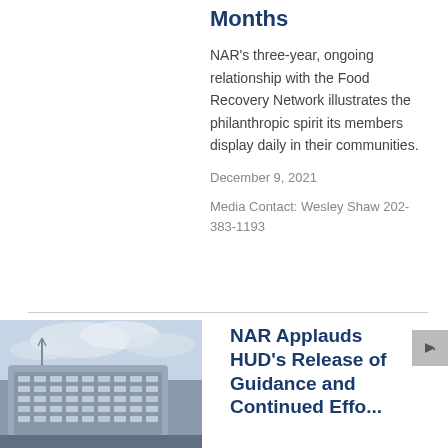Months
NAR's three-year, ongoing relationship with the Food Recovery Network illustrates the philanthropic spirit its members display daily in their communities.
December 9, 2021
Media Contact: Wesley Shaw 202-383-1193
[Figure (photo): Exterior photo of a large curved modern government/office building against a cloudy sky]
NAR Applauds HUD's Release of Guidance and Continued Effo...